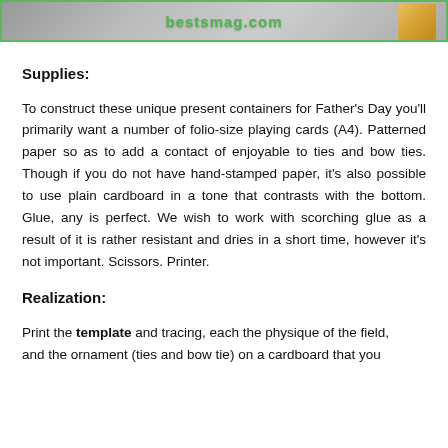[Figure (photo): Top banner image showing a partial view of a box/package with gray background and green border, watermarked with 'bestsmag.com']
Supplies:
To construct these unique present containers for Father's Day you'll primarily want a number of folio-size playing cards (A4). Patterned paper so as to add a contact of enjoyable to ties and bow ties. Though if you do not have hand-stamped paper, it's also possible to use plain cardboard in a tone that contrasts with the bottom. Glue, any is perfect. We wish to work with scorching glue as a result of it is rather resistant and dries in a short time, however it's not important. Scissors. Printer.
Realization:
Print the template and tracing, each the physique of the field, and the ornament (ties and bow tie) on a cardboard that you